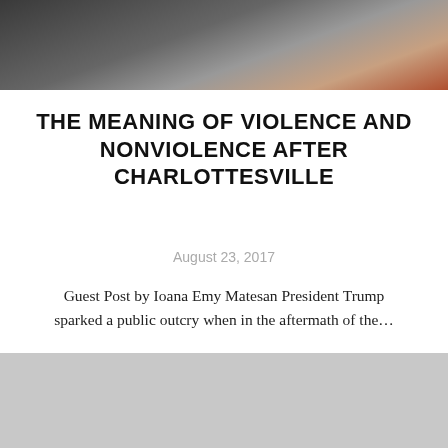[Figure (photo): Partial photo of people at top of page, dark tones with figure in black and reddish figure at right]
THE MEANING OF VIOLENCE AND NONVIOLENCE AFTER CHARLOTTESVILLE
August 23, 2017
Guest Post by Ioana Emy Matesan President Trump sparked a public outcry when in the aftermath of the...
READ MORE >
[Figure (photo): Gray placeholder photo at the bottom of the page]